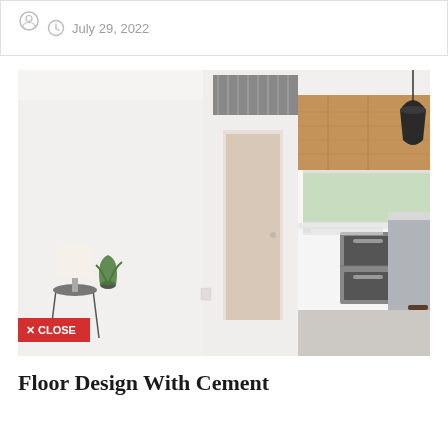July 29, 2022
[Figure (photo): Interior home photo showing a modern open-plan living area with polished concrete floors, white walls, a doorway/hallway divider, and a kitchen with wooden cabinetry, double ovens, gas cooktop, pendant lighting, and a kitchen island with bar stools. A small side table with a plant and lamp is visible on the left. A red CLOSE button overlay is in the bottom-left corner.]
Floor Design With Cement